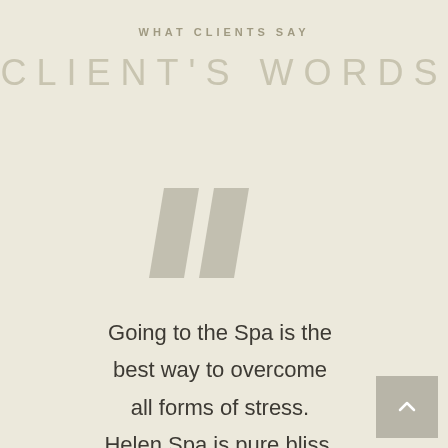WHAT CLIENTS SAY
CLIENT'S WORDS
[Figure (illustration): Large decorative double quotation mark in muted gray-beige color]
Going to the Spa is the best way to overcome all forms of stress. Helen Spa is pure bliss. All the good things